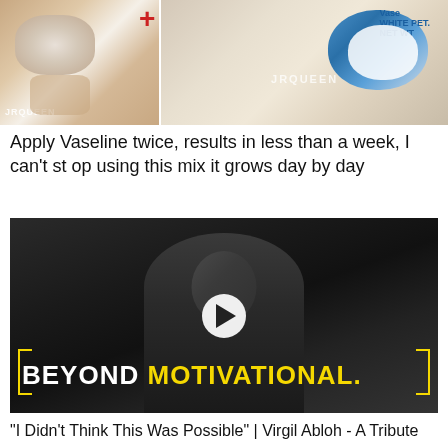[Figure (photo): Two images side by side showing hands with cream/Vaseline product, watermarked with JRQUEEN, with a red plus sign between them]
Apply Vaseline twice, results in less than a week, I can't st op using this mix it grows day by day
[Figure (screenshot): Black and white video thumbnail of a bald man with text overlay 'BEYOND MOTIVATIONAL.' and a play button, appears to be a YouTube video about Virgil Abloh]
"I Didn't Think This Was Possible" | Virgil Abloh - A Tribute